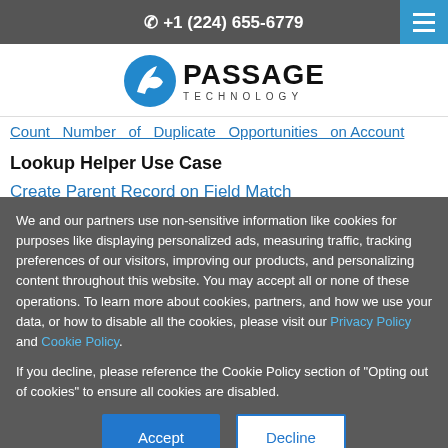+1 (224) 655-6779
[Figure (logo): Passage Technology logo with blue arrow icon and bold text]
Count Number of Duplicate Opportunities on Account
Lookup Helper Use Case
Create Parent Record on Field Match
We and our partners use non-sensitive information like cookies for purposes like displaying personalized ads, measuring traffic, tracking preferences of our visitors, improving our products, and personalizing content throughout this website. You may accept all or none of these operations. To learn more about cookies, partners, and how we use your data, or how to disable all the cookies, please visit our Privacy Policy and Cookie Policy.

If you decline, please reference the Cookie Policy section of "Opting out of cookies" to ensure all cookies are disabled.